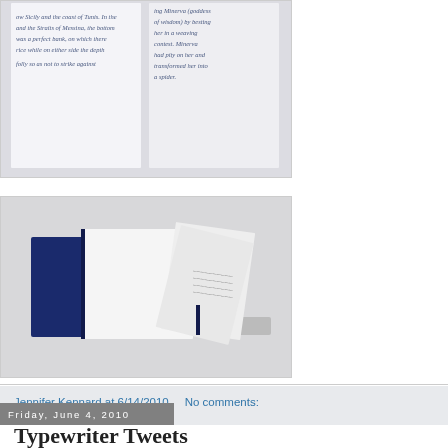[Figure (photo): Close-up photo of an open book showing italic blue/gray text on white pages, cropped at top]
[Figure (photo): Photo of an open hardcover book with navy blue spine, lying flat with loose pages or inserts fanned out on a gray background]
Jennifer Kennard at 6/14/2010    No comments:
Share
Friday, June 4, 2010
Typewriter Tweets